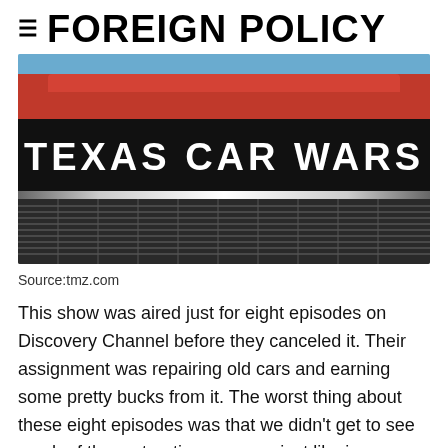≡ FOREIGN POLICY
[Figure (photo): Front of a red classic car with 'TEXAS CAR WARS' displayed on a black sign across the grille area, chrome bumper and grille visible below, blue sky background.]
Source:tmz.com
This show was aired just for eight episodes on Discovery Channel before they canceled it. Their assignment was repairing old cars and earning some pretty bucks from it. The worst thing about these eight episodes was that we didn't get to see much of the restoration process, just like in